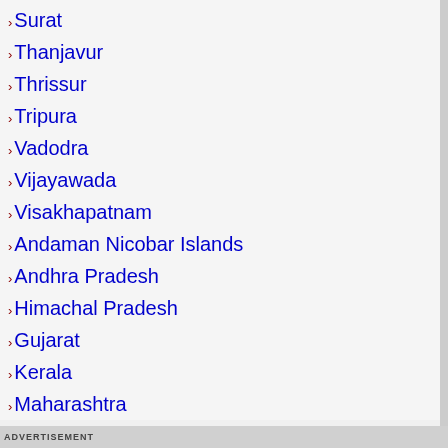Surat
Thanjavur
Thrissur
Tripura
Vadodra
Vijayawada
Visakhapatnam
Andaman Nicobar Islands
Andhra Pradesh
Himachal Pradesh
Gujarat
Kerala
Maharashtra
Uttarakhand
ADVERTISEMENT